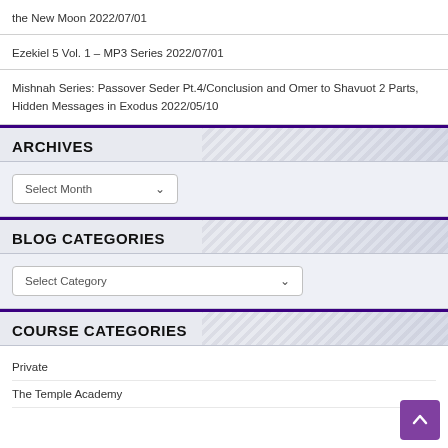the New Moon 2022/07/01
Ezekiel 5 Vol. 1 – MP3 Series 2022/07/01
Mishnah Series: Passover Seder Pt.4/Conclusion and Omer to Shavuot 2 Parts, Hidden Messages in Exodus 2022/05/10
ARCHIVES
[Figure (other): Dropdown selector labeled 'Select Month' with chevron arrow]
BLOG CATEGORIES
[Figure (other): Dropdown selector labeled 'Select Category' with chevron arrow]
COURSE CATEGORIES
Private
The Temple Academy